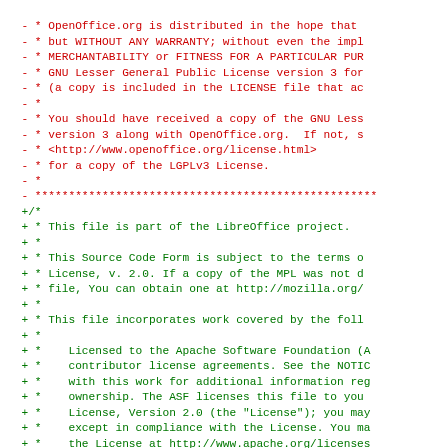Code diff showing removal of OpenOffice.org license header (red lines) and addition of LibreOffice/MPL/Apache license header (green lines), followed by #ifndef _SVX_THESDLG_HRC
- * OpenOpenOffice.org is distributed in the hope that
- * but WITHOUT ANY WARRANTY; without even the impl
- * MERCHANTABILITY or FITNESS FOR A PARTICULAR PUR
- * GNU Lesser General Public License version 3 for
- * (a copy is included in the LICENSE file that ac
- *
- * You should have received a copy of the GNU Less
- * version 3 along with OpenOffice.org.  If not, s
- * <http://www.openoffice.org/license.html>
- * for a copy of the LGPLv3 License.
- *
- ****************************************************
+/*
+ * This file is part of the LibreOffice project.
+ *
+ * This Source Code Form is subject to the terms o
+ * License, v. 2.0. If a copy of the MPL was not d
+ * file, You can obtain one at http://mozilla.org/
+ *
+ * This file incorporates work covered by the foll
+ *
+ *   Licensed to the Apache Software Foundation (A
+ *   contributor license agreements. See the NOTIC
+ *   with this work for additional information reg
+ *   ownership. The ASF licenses this file to you
+ *   License, Version 2.0 (the "License"); you may
+ *   except in compliance with the License. You ma
+ *   the License at http://www.apache.org/licenses
+ */
 #ifndef _SVX_THESDLG_HRC